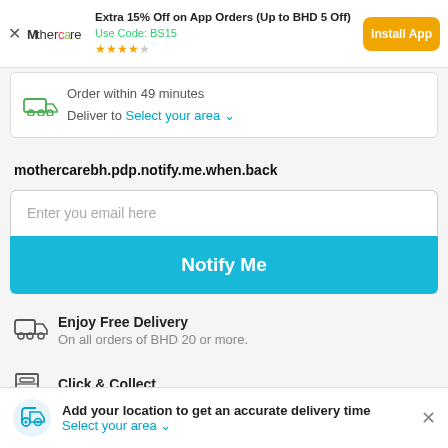Extra 15% Off on App Orders (Up to BHD 5 Off) Use Code: BS15 ★★★★☆ Install App
Order within 49 minutes
Deliver to Select your area
mothercarebh.pdp.notify.me.when.back
Enter you email here
Notify Me
Enjoy Free Delivery
On all orders of BHD 20 or more.
Click & Collect
Add your location to get an accurate delivery time
Select your area